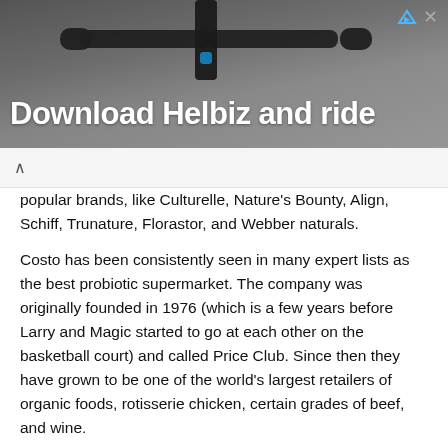[Figure (photo): Advertisement banner showing scooter handlebars with text 'Download Helbiz and ride']
popular brands, like Culturelle, Nature's Bounty, Align, Schiff, Trunature, Florastor, and Webber naturals.
Costo has been consistently seen in many expert lists as the best probiotic supermarket. The company was originally founded in 1976 (which is a few years before Larry and Magic started to go at each other on the basketball court) and called Price Club. Since then they have grown to be one of the world's largest retailers of organic foods, rotisserie chicken, certain grades of beef, and wine.
5. Kroger
Kroger has probiotics in all food forms for adults, children and infants, alike. Their probiotic line for babies is very popular. You can find everything from probiotic enriched drops to baby food.